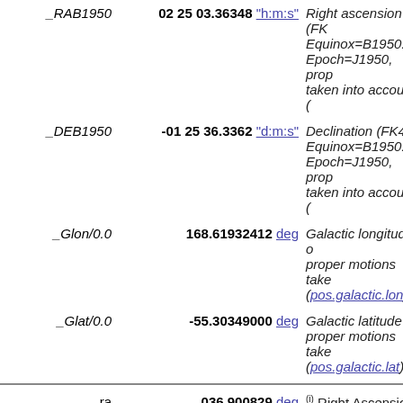| Column | Value | Description |
| --- | --- | --- |
| _RAB1950 | 02 25 03.36348 "h:m:s" | Right ascension (FK4, Equinox=B1950.0) at Epoch=J1950, prop. motions taken into account (...) |
| _DEB1950 | -01 25 36.3362 "d:m:s" | Declination (FK4, Equinox=B1950.0) at Epoch=J1950, prop. motions taken into account (...) |
| _Glon/0.0 | 168.61932412 deg | Galactic longitude at proper motions taken (pos.galactic.lon) |
| _Glat/0.0 | -55.30349000 deg | Galactic latitude at proper motions taken (pos.galactic.lat) |
| ra | 036.900829 deg | (i) Right Ascension (ICRS) at Epoch="0 (pos.eq.ra;meta.main) |
| dec | -01.203192 deg | (i) Declination of the at Epoch="ObsDate (pos.eq.dec;meta.ma...) |
| mode | 2 | [1/2] 1: primary (46... sources), 2: seconda... |